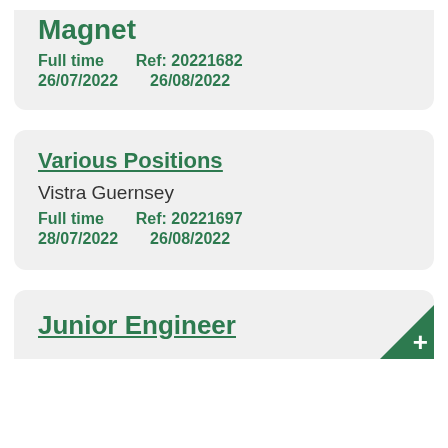Magnet
Full time    Ref: 20221682
26/07/2022    26/08/2022
Various Positions
Vistra Guernsey
Full time    Ref: 20221697
28/07/2022    26/08/2022
Junior Engineer